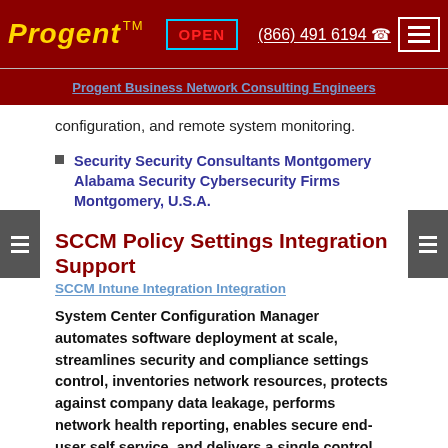Progent TM | OPEN | (866) 491 6194 | menu
Progent Business Network Consulting Engineers
configuration, and remote system monitoring.
Security Security Consultants Montgomery Alabama Security Cybersecurity Firms Montgomery, U.S.A.
SCCM Policy Settings Integration Support
SCCM Intune Integration Integration
System Center Configuration Manager automates software deployment at scale, streamlines security and compliance settings control, inventories network resources, protects against company data leakage, performs network health reporting, enables secure end-user self service, and delivers a single control mechanism for administering multi-operating system ecosystems running on-premises, cloud, or hybrid deployment models. Progent's Microsoft-certified SCCM